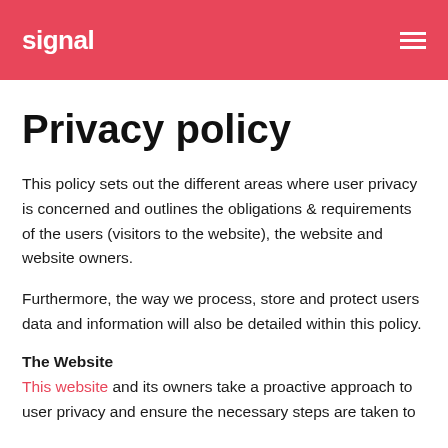signal
Privacy policy
This policy sets out the different areas where user privacy is concerned and outlines the obligations & requirements of the users (visitors to the website), the website and website owners.
Furthermore, the way we process, store and protect users data and information will also be detailed within this policy.
The Website
This website and its owners take a proactive approach to user privacy and ensure the necessary steps are taken to